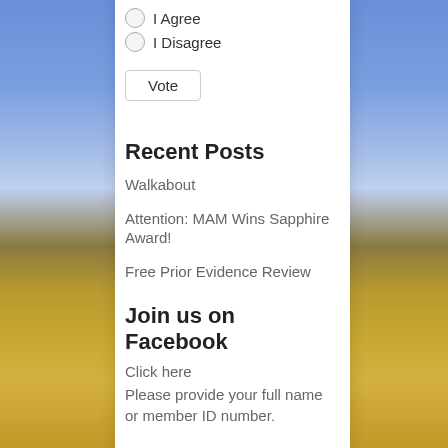I Agree
I Disagree
Vote
Recent Posts
Walkabout
Attention: MAM Wins Sapphire Award!
Free Prior Evidence Review
Join us on Facebook
Click here
Please provide your full name or member ID number.
Today in History